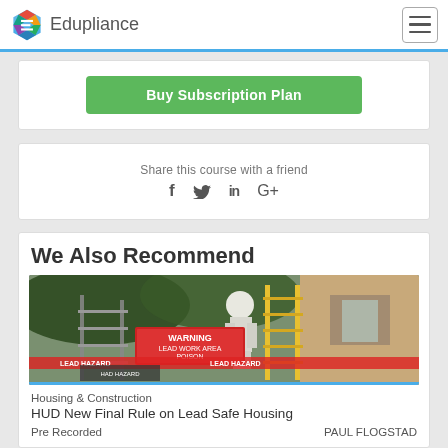Edupliance
Buy Subscription Plan
Share this course with a friend
We Also Recommend
[Figure (photo): Workers in protective suits at a lead work area with WARNING LEAD WORK AREA POISON signs and LEAD HAZARD tape in front of a residential building]
Housing & Construction
HUD New Final Rule on Lead Safe Housing
Pre Recorded    PAUL FLOGSTAD